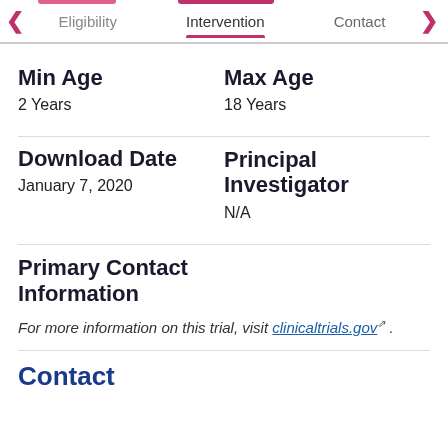Eligibility   Intervention   Contact
Min Age
2 Years
Max Age
18 Years
Download Date
January 7, 2020
Principal Investigator
N/A
Primary Contact Information
For more information on this trial, visit clinicaltrials.gov .
Contact